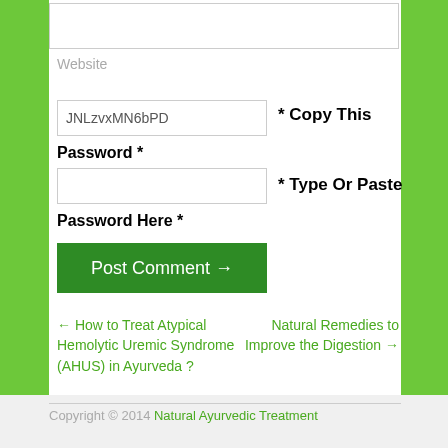Website
JNLzvxMN6bPD
* Copy This
Password *
* Type Or Paste
Password Here *
Post Comment →
← How to Treat Atypical Hemolytic Uremic Syndrome (AHUS) in Ayurveda ?
Natural Remedies to Improve the Digestion →
Copyright © 2014 Natural Ayurvedic Treatment